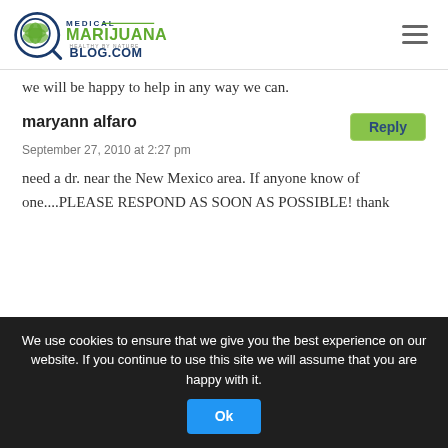Medical Marijuana Blog.com
we will be happy to help in any way we can.
maryann alfaro
September 27, 2010 at 2:27 pm
need a dr. near the New Mexico area. If anyone know of one....PLEASE RESPOND AS SOON AS POSSIBLE! thank
We use cookies to ensure that we give you the best experience on our website. If you continue to use this site we will assume that you are happy with it.